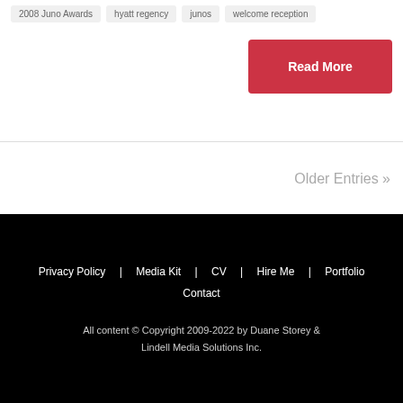2008 Juno Awards
hyatt regency
junos
welcome reception
Read More
Older Entries »
Privacy Policy  Media Kit  CV  Hire Me  Portfolio  Contact
All content © Copyright 2009-2022 by Duane Storey & Lindell Media Solutions Inc.